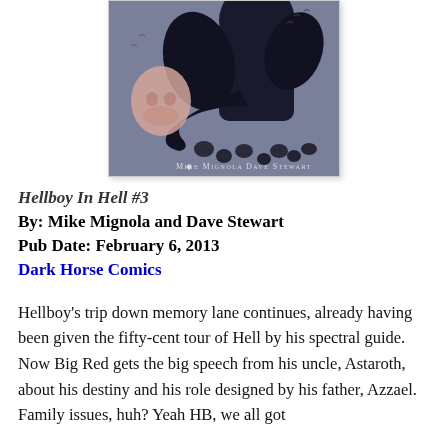[Figure (illustration): Comic book cover for Hellboy In Hell #3. Dark grey/blue background with a large black shadowy figure looming over smaller skulls and creatures on the ground. A pale pink skull-like shape is visible on the left. Text at the bottom reads 'Mike Mignola  Dave Stewart'.]
Hellboy In Hell #3
By: Mike Mignola and Dave Stewart
Pub Date: February 6, 2013
Dark Horse Comics
Hellboy's trip down memory lane continues, already having been given the fifty-cent tour of Hell by his spectral guide. Now Big Red gets the big speech from his uncle, Astaroth, about his destiny and his role designed by his father, Azzael. Family issues, huh? Yeah HB, we all got